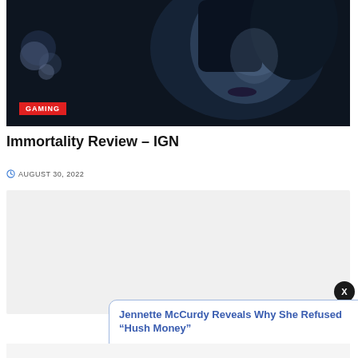[Figure (photo): Dark cinematic close-up of a woman's face with blue tones and a red GAMING badge overlay at bottom left]
Immortality Review – IGN
AUGUST 30, 2022
[Figure (other): Gray advertisement placeholder block]
Jennette McCurdy Reveals Why She Refused “Hush Money” 14 hours ago